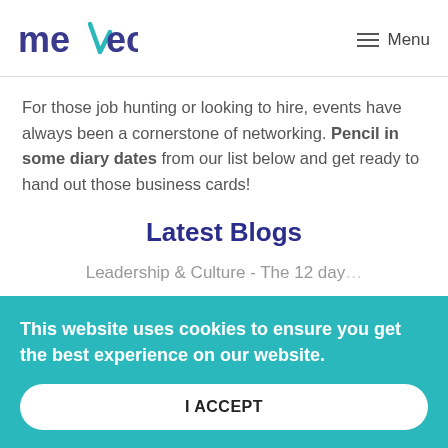mexec | Menu
For those job hunting or looking to hire, events have always been a cornerstone of networking. Pencil in some diary dates from our list below and get ready to hand out those business cards!
Latest Blogs
Leadership & Culture - The 12 day...
This website uses cookies to ensure you get the best experience on our website.
I ACCEPT